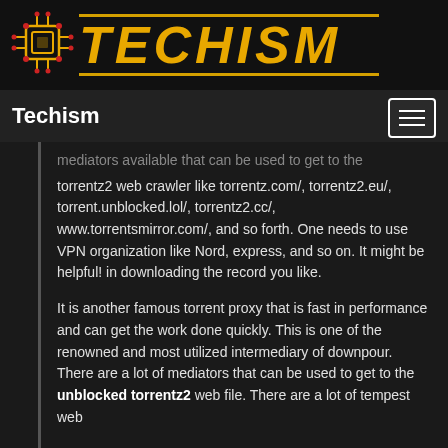[Figure (logo): Techism logo with circuit board icon and gold text TECHISM with gold horizontal lines above and below]
Techism
mediators available that can be used to get to the torrentz2 web crawler like torrentz.com/, torrentz2.eu/, torrent.unblocked.lol/, torrentz2.cc/, www.torrentsmirror.com/, and so forth. One needs to use VPN organization like Nord, express, and so on. It might be helpful! in downloading the record you like.
It is another famous torrent proxy that is fast in performance and can get the work done quickly. This is one of the renowned and most utilized intermediary of downpour. There are a lot of mediators that can be used to get to the unblocked torrentz2 web file. There are a lot of tempest web